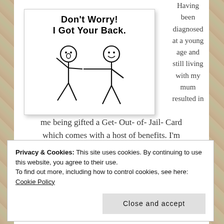[Figure (illustration): A greeting card with stick figures reading 'Don't Worry! I Got Your Back.' with two stick people, one touching the other's back.]
Having been diagnosed at a young age and still living with my mum resulted in
me being gifted a Get- Out- of- Jail- Card which comes with a host of benefits. I'm
Privacy & Cookies: This site uses cookies. By continuing to use this website, you agree to their use.
To find out more, including how to control cookies, see here: Cookie Policy
Close and accept
true. I can be a lazy bunny and shun all